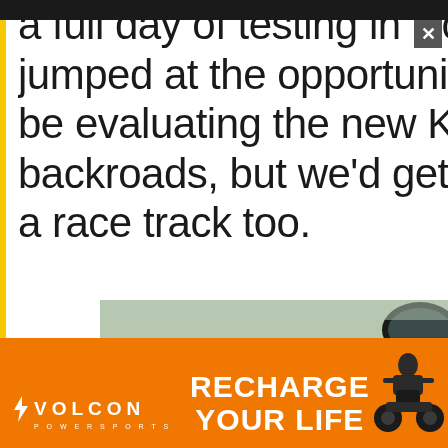a full day of testing in Northe... jumped at the opportunity. N... be evaluating the new KLX o... backroads, but we'd get to ca... a race track too.
[Figure (photo): A race track scene with colorful kerbs (yellow, blue, red) visible in the background, and a motorcycle mirror in the foreground right side.]
[Figure (photo): Advertisement banner: Volcon Powersports logo on left with lightning bolt icon, bold text RECHARGE YOUR LIFE in center, motorcycle rider silhouette on right, orange background.]